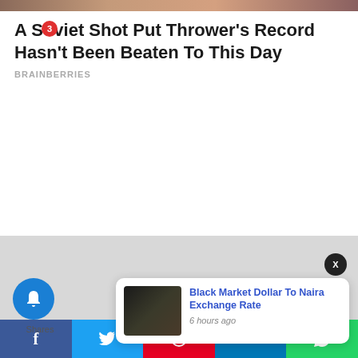[Figure (photo): Top image strip showing partial photo]
A Soviet Shot Put Thrower's Record Hasn't Been Beaten To This Day
BRAINBERRIES
[Figure (screenshot): Notification popup: Black Market Dollar To Naira Exchange Rate, 6 hours ago, with thumbnail of money]
Shares